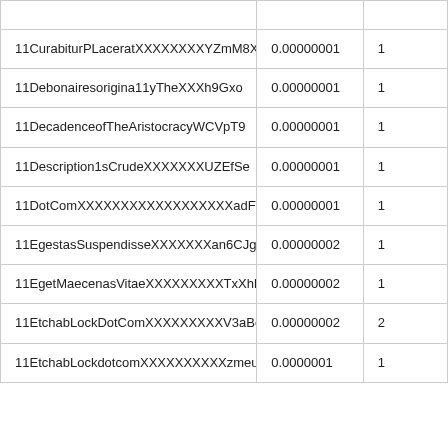|  |  |  |
| --- | --- | --- |
| 11CurabiturPLaceratXXXXXXXXYZmM8X | 0.00000001 | 1 |
| 11Debonairesorigina11yTheXXXh9Gxo | 0.00000001 | 1 |
| 11DecadenceofTheAristocracyWCVpT9 | 0.00000001 | 1 |
| 11Description1sCrudeXXXXXXXUZEfSe | 0.00000001 | 1 |
| 11DotComXXXXXXXXXXXXXXXXXXadFTXV | 0.00000001 | 1 |
| 11EgestasSuspendisseXXXXXXXan6CJg | 0.00000002 | 1 |
| 11EgetMaecenasVitaeXXXXXXXXXTxXhhz | 0.00000002 | 1 |
| 11EtchabLockDotComXXXXXXXXXV3aBeU | 0.00000002 | 2 |
| 11EtchabLockdotcomXXXXXXXXXXzmeuk | 0.0000001 | 1 |